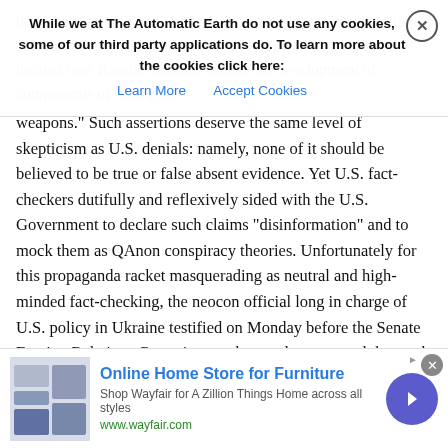While we at The Automatic Earth do not use any cookies, some of our third party applications do. To learn more about the cookies click here: Learn More   Accept Cookies
weapons.” Such assertions deserve the same level of skepticism as U.S. denials: namely, none of it should be believed to be true or false absent evidence. Yet U.S. fact-checkers dutifully and reflexively sided with the U.S. Government to declare such claims “disinformation” and to mock them as QAnon conspiracy theories. Unfortunately for this propaganda racket masquerading as neutral and high-minded fact-checking, the neocon official long in charge of U.S. policy in Ukraine testified on Monday before the Senate Foreign Relations Committee and strongly suggested that such claims are, at least in part, true.
Yesterday afternoon, Under Secretary of State Victoria Nuland testified before the Senate Foreign Relations Committee. Sen. Marco Rubio (R-FL), hoping to debunk growing claims that there are chemical weapons labs in Ukraine, smugly asked Nuland: “Does
[Figure (other): Online advertisement for Wayfair furniture store showing product image, text 'Online Home Store for Furniture', 'Shop Wayfair for A Zillion Things Home across all styles', 'www.wayfair.com', and a blue arrow button]